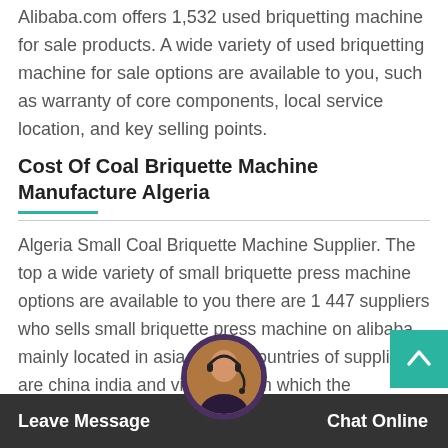Alibaba.com offers 1,532 used briquetting machine for sale products. A wide variety of used briquetting machine for sale options are available to you, such as warranty of core components, local service location, and key selling points.
Cost Of Coal Briquette Machine Manufacture Algeria
Algeria Small Coal Briquette Machine Supplier. The top a wide variety of small briquette press machine options are available to you there are 1 447 suppliers who sells small briquette press machine on alibaba mainly located in asia the top countries of suppliers are china india and vietnam from which the percentage of small briquette press machine supply is 99 1 and respectively.
Leave Message   Chat Online